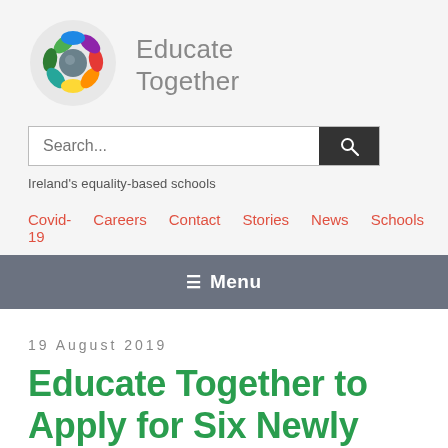[Figure (logo): Educate Together colourful circular logo made of leaf/petal shapes in green, blue, red, purple, orange, yellow]
Educate Together
Ireland's equality-based schools
Covid-19  Careers  Contact  Stories  News  Schools
≡ Menu
19 August 2019
Educate Together to Apply for Six Newly Announced Second-level Schools